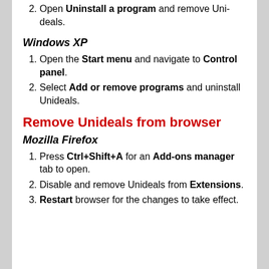Open Uninstall a program and remove Unideals.
Windows XP
Open the Start menu and navigate to Control panel.
Select Add or remove programs and uninstall Unideals.
Remove Unideals from browser
Mozilla Firefox
Press Ctrl+Shift+A for an Add-ons manager tab to open.
Disable and remove Unideals from Extensions.
Restart browser for the changes to take effect.